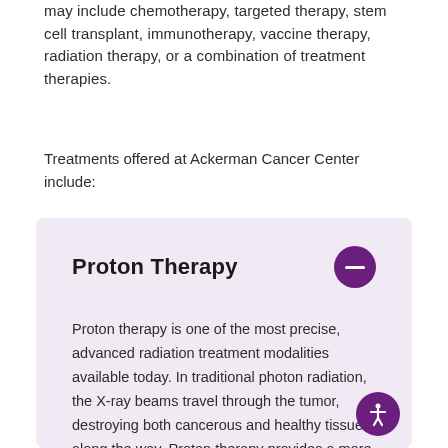may include chemotherapy, targeted therapy, stem cell transplant, immunotherapy, vaccine therapy, radiation therapy, or a combination of treatment therapies.
Treatments offered at Ackerman Cancer Center include:
Proton Therapy
Proton therapy is one of the most precise, advanced radiation treatment modalities available today. In traditional photon radiation, the X-ray beams travel through the tumor, destroying both cancerous and healthy tissue along the way. Proton therapy provides a more efficient solution by utilizing charged particles (protons) to penetrate the tissue and deposit nearly all of their energy directly at the tumor site, thereby reducing damage to surrounding